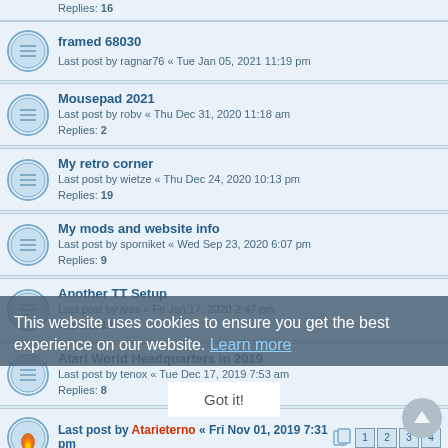Replies: 16
framed 68030 — Last post by ragnar76 « Tue Jan 05, 2021 11:19 pm
Mousepad 2021 — Last post by robv « Thu Dec 31, 2020 11:18 am — Replies: 2
My retro corner — Last post by wietze « Thu Dec 24, 2020 10:13 pm — Replies: 19
My mods and website info — Last post by sporniket « Wed Sep 23, 2020 6:07 pm — Replies: 9
Another TT Setup — Last post by jvas « Fri Jan 17, 2020 2:47 pm — Replies: 19
Atari World Headquarters in 2019 — Last post by tenox « Tue Dec 17, 2019 7:53 am — Replies: 8
More boxes... — Last post by Atarieterno « Sat Sep 07, 2019 11:31 am — Replies: 8
My home office (Atari Falcon & PC) — Last post by jd « Wed May 29, 2019 12:28 pm — Replies: 19
This website uses cookies to ensure you get the best experience on our website. Learn more
Got it!